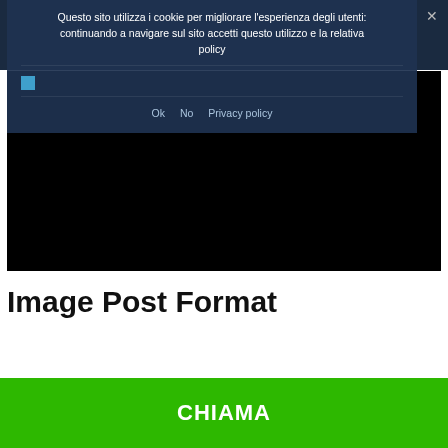Questo sito utilizza i cookie per migliorare l'esperienza degli utenti: continuando a navigare sul sito accetti questo utilizzo e la relativa policy
Ok  No  Privacy policy
[Figure (screenshot): Black video player area embedded in webpage]
Image Post Format
CHIAMA